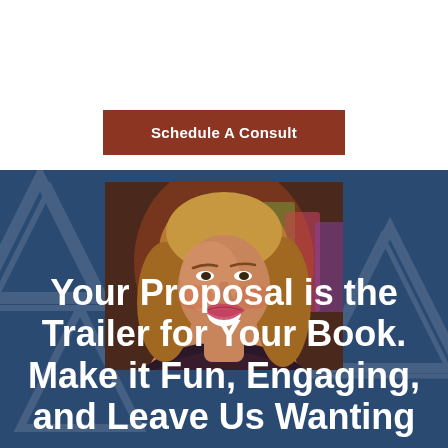[Figure (logo): Author Gateway logo with triangle/A icon in navy blue and text AUTHOR GATEWAY]
[Figure (other): Hamburger menu icon (three horizontal lines) in navy blue]
Schedule A Consult
[Figure (photo): Close-up photo of a smiling woman with long blonde hair, warm lighting]
Your Proposal is the Trailer for Your Book. Make it Fun, Engaging, and Leave Us Wanting